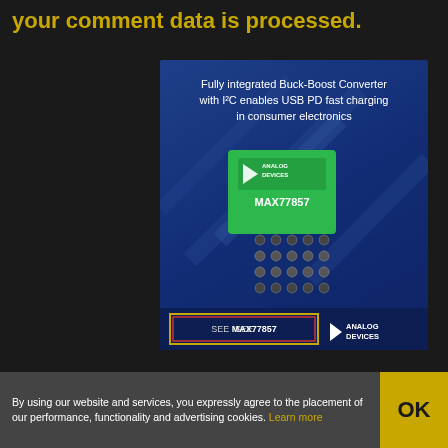your comment data is processed.
[Figure (illustration): Analog Devices advertisement for MAX77857 Fully integrated Buck-Boost Converter with I2C enabling USB PD fast charging in consumer electronics. Shows a green IC chip with BGA package, a 'SEE MAX77857' button, and the Analog Devices logo.]
SEARCH
By using our website and services, you expressly agree to the placement of our performance, functionality and advertising cookies. Learn more